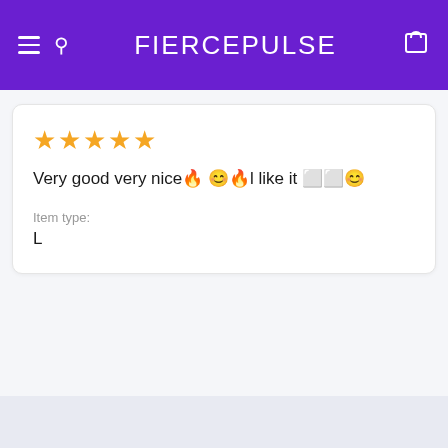FIERCEPULSE
★★★★★
Very good very nice 🔥 😊🔥l like it 🔲🔲😊
Item type:
L